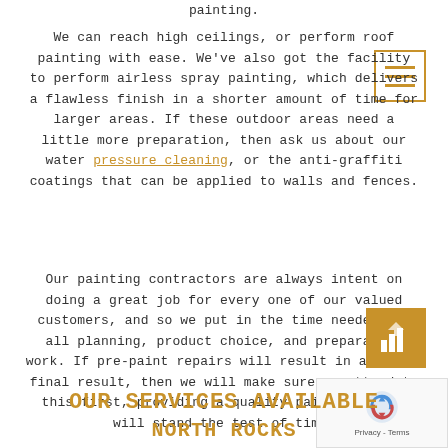painting.
We can reach high ceilings, or perform roof painting with ease. We've also got the facility to perform airless spray painting, which delivers a flawless finish in a shorter amount of time for larger areas. If these outdoor areas need a little more preparation, then ask us about our water pressure cleaning, or the anti-graffiti coatings that can be applied to walls and fences.
Our painting contractors are always intent on doing a great job for every one of our valued customers, and so we put in the time needed for all planning, product choice, and preparation work. If pre-paint repairs will result in a better final result, then we will make sure we attend to this first, providing a quality paint job that will stand the test of time.
OUR SERVICES AVAILABLE
NORTH ROCKS